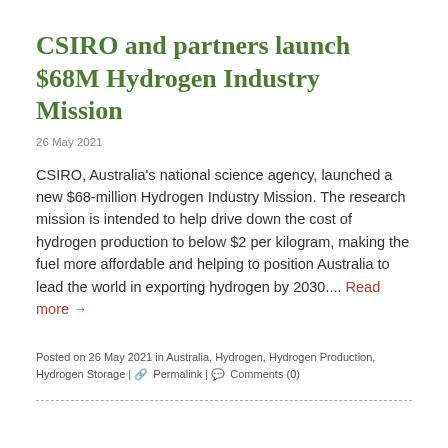CSIRO and partners launch $68M Hydrogen Industry Mission
26 May 2021
CSIRO, Australia's national science agency, launched a new $68-million Hydrogen Industry Mission. The research mission is intended to help drive down the cost of hydrogen production to below $2 per kilogram, making the fuel more affordable and helping to position Australia to lead the world in exporting hydrogen by 2030.... Read more →
Posted on 26 May 2021 in Australia, Hydrogen, Hydrogen Production, Hydrogen Storage | 🔗 Permalink | 💬 Comments (0)